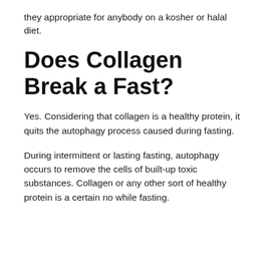they appropriate for anybody on a kosher or halal diet.
Does Collagen Break a Fast?
Yes. Considering that collagen is a healthy protein, it quits the autophagy process caused during fasting.
During intermittent or lasting fasting, autophagy occurs to remove the cells of built-up toxic substances. Collagen or any other sort of healthy protein is a certain no while fasting.